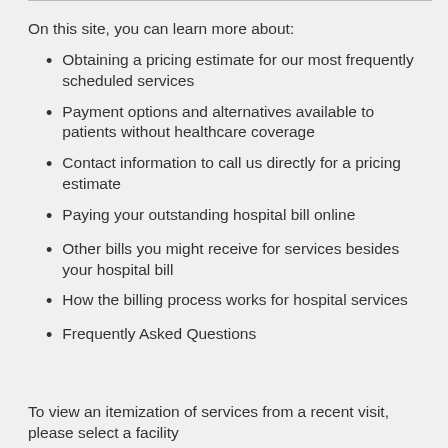On this site, you can learn more about:
Obtaining a pricing estimate for our most frequently scheduled services
Payment options and alternatives available to patients without healthcare coverage
Contact information to call us directly for a pricing estimate
Paying your outstanding hospital bill online
Other bills you might receive for services besides your hospital bill
How the billing process works for hospital services
Frequently Asked Questions
To view an itemization of services from a recent visit, please select a facility